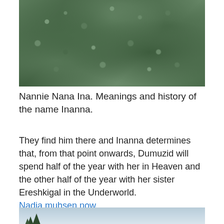[Figure (photo): Close-up photo of green succulent plants with small rosette-shaped leaves packed densely together]
Nannie Nana Ina. Meanings and history of the name Inanna.
They find him there and Inanna determines that, from that point onwards, Dumuzid will spend half of the year with her in Heaven and the other half of the year with her sister Ereshkigal in the Underworld.
Nadia muhsen now
[Figure (photo): Partial photo showing a light blue sky with silhouettes of trees at the bottom edge]